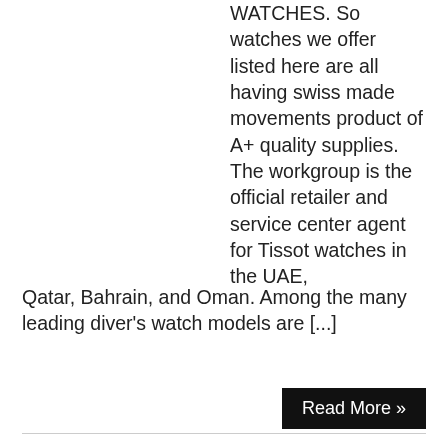WATCHES. So watches we offer listed here are all having swiss made movements product of A+ quality supplies. The workgroup is the official retailer and service center agent for Tissot watches in the UAE, Qatar, Bahrain, and Oman. Among the many leading diver's watch models are [...]
Read More »
Buy Tissot Watches Online For Men & Ladies